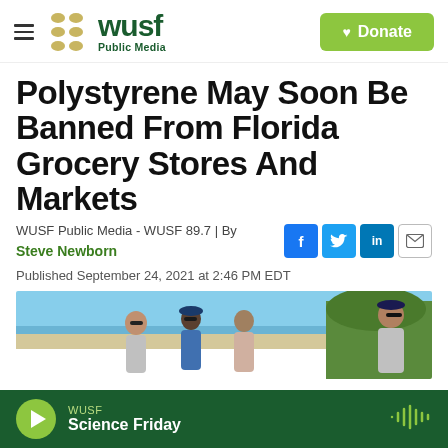[Figure (logo): WUSF Public Media logo with circular dot graphic and green wordmark]
Polystyrene May Soon Be Banned From Florida Grocery Stores And Markets
WUSF Public Media - WUSF 89.7 | By Steve Newborn
Published September 24, 2021 at 2:46 PM EDT
[Figure (photo): People standing on a beach, outdoor scene with blue sky and vegetation]
WUSF Science Friday